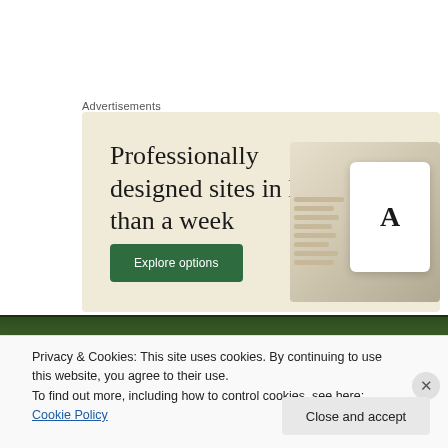Advertisements
[Figure (illustration): Advertisement banner with beige background showing text 'Professionally designed sites in less than a week' with a green 'Explore options' button and device mockup images on the right side.]
[Figure (photo): Blurred forest/greenery strip image at the top of the cookie consent banner.]
Privacy & Cookies: This site uses cookies. By continuing to use this website, you agree to their use.
To find out more, including how to control cookies, see here: Cookie Policy